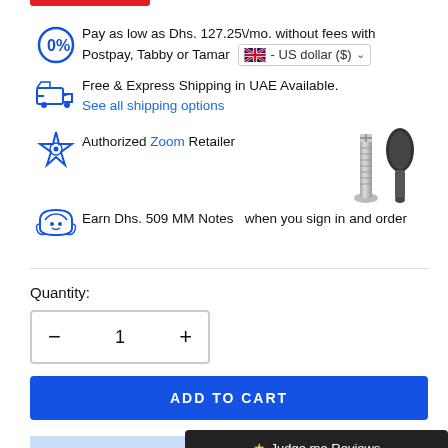Pay as low as Dhs. 127.25\/mo. without fees with Postpay, Tabby or Tamar  - US dollar ($)
Free & Express Shipping in UAE Available. See all shipping options
Authorized Zoom Retailer
[Figure (photo): Product image showing a microphone and screw]
Earn Dhs. 509 MM Notes   when you sign in and order
Quantity:
1
ADD TO CART
★ Judge.me Reviews